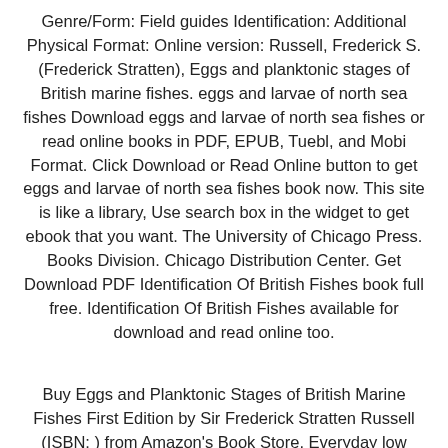Genre/Form: Field guides Identification: Additional Physical Format: Online version: Russell, Frederick S. (Frederick Stratten), Eggs and planktonic stages of British marine fishes. eggs and larvae of north sea fishes Download eggs and larvae of north sea fishes or read online books in PDF, EPUB, Tuebl, and Mobi Format. Click Download or Read Online button to get eggs and larvae of north sea fishes book now. This site is like a library, Use search box in the widget to get ebook that you want. The University of Chicago Press. Books Division. Chicago Distribution Center. Get Download PDF Identification Of British Fishes book full free. Identification Of British Fishes available for download and read online too.
Buy Eggs and Planktonic Stages of British Marine Fishes First Edition by Sir Frederick Stratten Russell (ISBN: ) from Amazon's Book Store. Everyday low